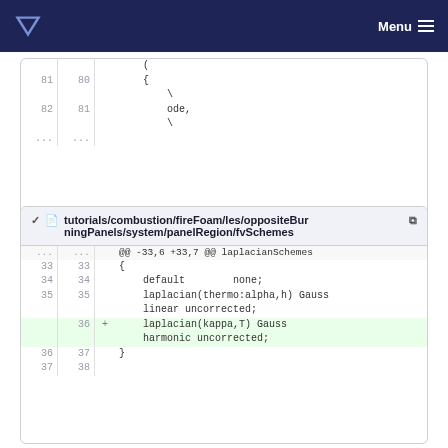Menu
[Figure (screenshot): Code diff block showing lines 81-82 with { and ode, and \ continuation characters, then ellipsis rows]
tutorials/combustion/fireFoam/les/oppositeBurningPanels/system/panelRegion/fvSchemes
[Figure (screenshot): Code diff block for fvSchemes file, lines 33-38, showing laplacianSchemes block with added line 36: laplacian(kappa,T) Gauss harmonic uncorrected;]